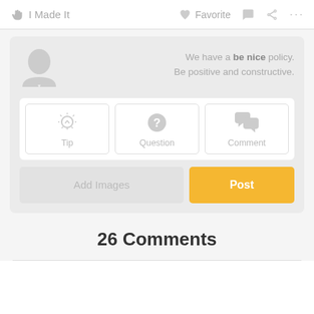I Made It   Favorite   ...
We have a be nice policy. Be positive and constructive.
Tip
Question
Comment
Add Images
Post
26 Comments